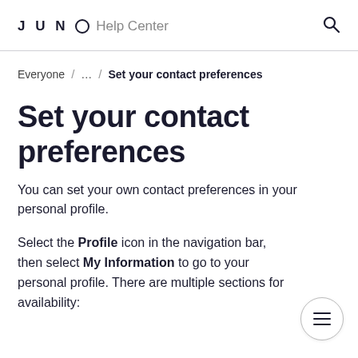JUNO Help Center
Everyone / ... / Set your contact preferences
Set your contact preferences
You can set your own contact preferences in your personal profile.
Select the Profile icon in the navigation bar, then select My Information to go to your personal profile. There are multiple sections for availability: